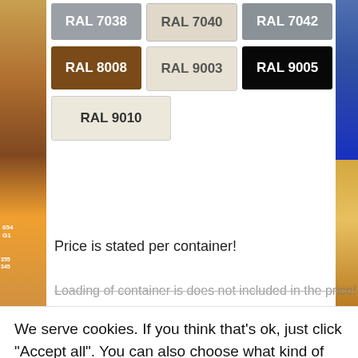[Figure (screenshot): Color swatches showing RAL color options: RAL 7038 (grey), RAL 7040 (light grey), RAL 7042 (grey), RAL 8008 (brown), RAL 9003 (off-white), RAL 9005 (black), RAL 9010 (pure white/cream)]
Price is stated per container!
Loading of container is does not included in the price!
We serve cookies. If you think that's ok, just click "Accept all". You can also choose what kind of cookies you want by clicking "Settings".
Settings
Accept all